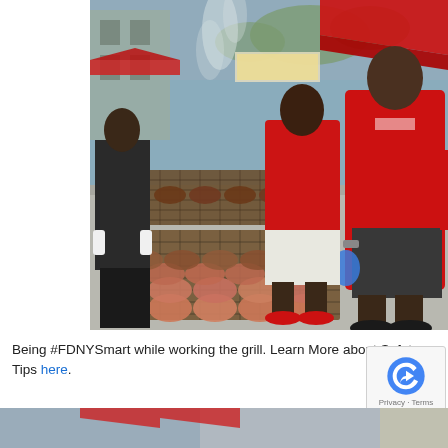[Figure (photo): Outdoor barbecue scene with people in red FDNY shirts cooking large quantities of hamburger patties on long grill grates on a city sidewalk. Smoke rising, red tents visible in background, one person wearing blue latex gloves.]
Being #FDNYSmart while working the grill. Learn More about Safety Tips here.
[Figure (photo): Partial bottom strip showing another outdoor scene with red tents.]